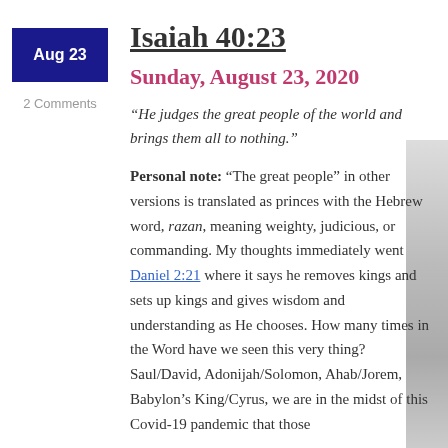Isaiah 40:23
Sunday, August 23, 2020
“He judges the great people of the world and brings them all to nothing.”
Personal note: “The great people” in other versions is translated as princes with the Hebrew word, razan, meaning weighty, judicious, or commanding. My thoughts immediately went Daniel 2:21 where it says he removes kings and sets up kings and gives wisdom and understanding as He chooses. How many times in the Word have we seen this very thing? Saul/David, Adonijah/Solomon, Ahab/Jorem, Babylon’s King/Cyrus, we are in the midst of this Covid-19 pandemic that those
[Figure (photo): Partial photo visible on right edge of page]
Aug 23
2 Comments